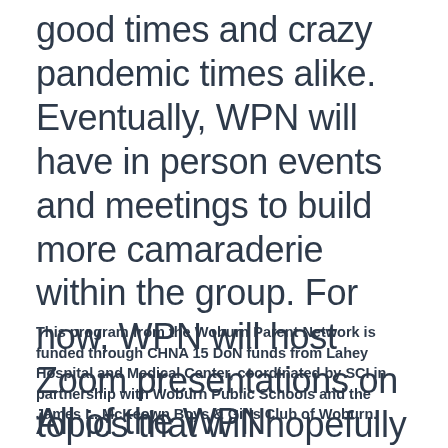good times and crazy pandemic times alike.  Eventually, WPN will have in person events and meetings to build more camaraderie within the group. For now, WPN will host Zoom presentations on topics that will hopefully help us all grow though this difficult time rather than just "get through" it.
This program from the Woburn Parent Network is funded through CHNA 15 DoN funds from Lahey Hospital and Medical Center, coordinated by SCI in partnership with Woburn Public Schools and the James L. McKeown Boys & Girls Club of Woburn.
All of the WPN presentations are